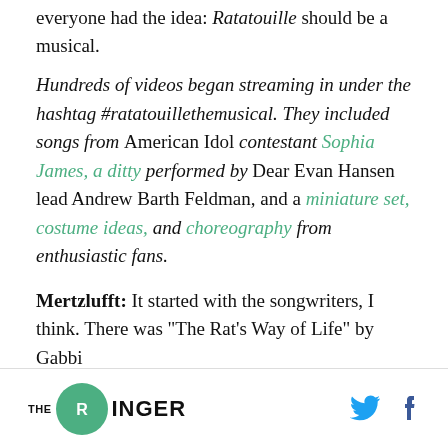everyone had the idea: Ratatouille should be a musical.
Hundreds of videos began streaming in under the hashtag #ratatouillethemusical. They included songs from American Idol contestant Sophia James, a ditty performed by Dear Evan Hansen lead Andrew Barth Feldman, and a miniature set, costume ideas, and choreography from enthusiastic fans.
Mertzlufft: It started with the songwriters, I think. There was “The Rat’s Way of Life” by Gabbi
THE RINGER